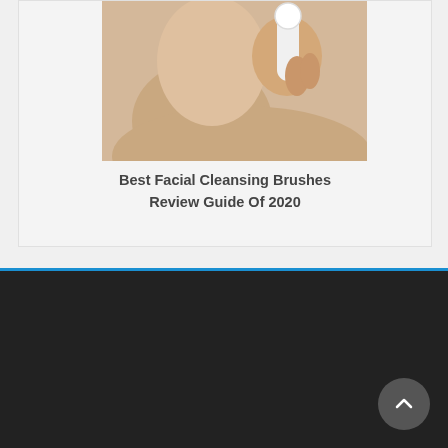[Figure (photo): Woman holding a facial cleansing brush device near her neck/face area, product review image]
Best Facial Cleansing Brushes Review Guide Of 2020
bestreviewsthisyear.com site is supported by its audience. When you purchase through links on our site, we may earn an affiliate commission. | Theme by ThemeinProgress | Proudly powered by WordPress